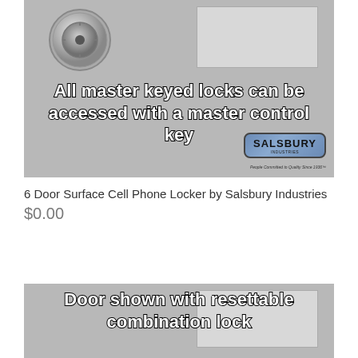[Figure (photo): Product image of a cell phone locker showing a key lock cylinder and door panel. Text overlay reads: All master keyed locks can be accessed with a master control key. Salsbury Industries logo badge visible.]
6 Door Surface Cell Phone Locker by Salsbury Industries
$0.00
[Figure (photo): Partial product image of a locker door. Text overlay reads: Door shown with resettable combination lock]